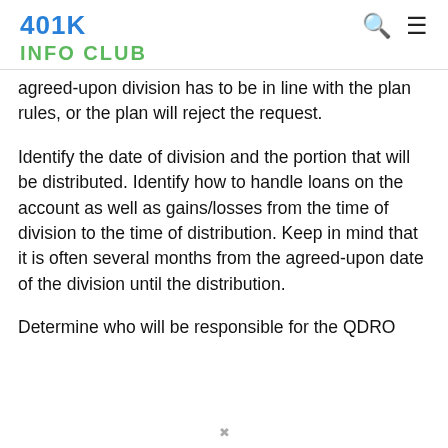401K INFO CLUB
agreed-upon division has to be in line with the plan rules, or the plan will reject the request.
Identify the date of division and the portion that will be distributed. Identify how to handle loans on the account as well as gains/losses from the time of division to the time of distribution. Keep in mind that it is often several months from the agreed-upon date of the division until the distribution.
Determine who will be responsible for the QDRO